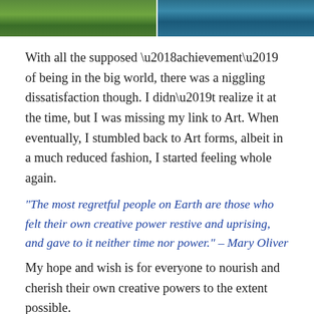[Figure (photo): Two side-by-side cropped photos at the top: left shows green grass/reeds, right shows blue-green water surface.]
With all the supposed ‘achievement’ of being in the big world, there was a niggling dissatisfaction though. I didn’t realize it at the time, but I was missing my link to Art. When eventually, I stumbled back to Art forms, albeit in a much reduced fashion, I started feeling whole again.
“The most regretful people on Earth are those who felt their own creative power restive and uprising, and gave to it neither time nor power.” – Mary Oliver
My hope and wish is for everyone to nourish and cherish their own creative powers to the extent possible.